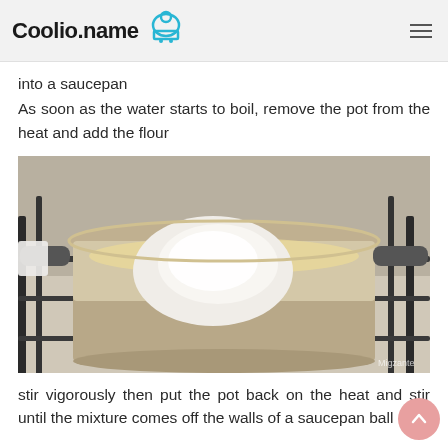Coolio.name
into a saucepan
As soon as the water starts to boil, remove the pot from the heat and add the flour
[Figure (photo): A saucepan on a gas stove with flour added to boiling water/butter mixture, viewed from above]
stir vigorously then put the pot back on the heat and stir until the mixture comes off the walls of a saucepan ball